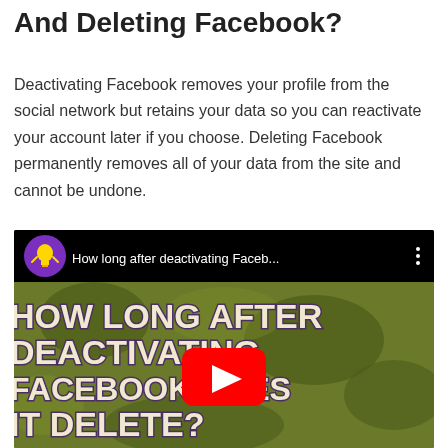And Deleting Facebook?
Deactivating Facebook removes your profile from the social network but retains your data so you can reactivate your account later if you choose. Deleting Facebook permanently removes all of your data from the site and cannot be undone.
[Figure (screenshot): YouTube video embed showing 'How long after deactivating Faceb...' with thumbnail text 'HOW LONG AFTER DEACTIVATING FACEBOOK DOES IT DELETE?' on an olive/green camouflage background with a red YouTube play button.]